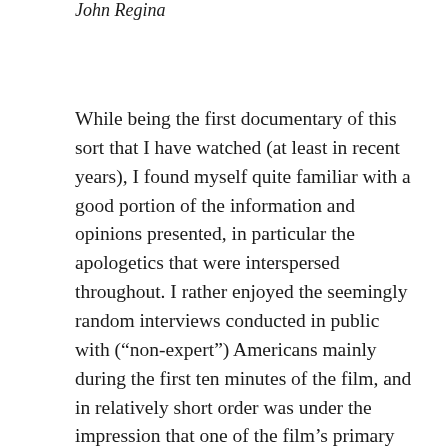John Regina
While being the first documentary of this sort that I have watched (at least in recent years), I found myself quite familiar with a good portion of the information and opinions presented, in particular the apologetics that were interspersed throughout. I rather enjoyed the seemingly random interviews conducted in public with (“non-expert”) Americans mainly during the first ten minutes of the film, and in relatively short order was under the impression that one of the film’s primary objectives is an attempt to clarify what it means to be a practicing Christian, as opposed to the many